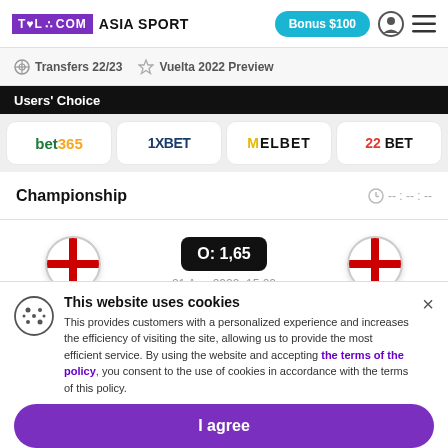TELECOM ASIA SPORT | Bonus $100
Transfers 22/23 | Vuelta 2022 Preview
Users' Choice
[Figure (logo): Bookmaker logos row: bet365, 1XBET, MELBET, 22BET]
Championship -- : -- : --
[Figure (infographic): Match card with two England flag circles and odds badge O: 1,65, date 21 Aug 2022 15:00]
This website uses cookies
This provides customers with a personalized experience and increases the efficiency of visiting the site, allowing us to provide the most efficient service. By using the website and accepting the terms of the policy, you consent to the use of cookies in accordance with the terms of this policy.
I agree